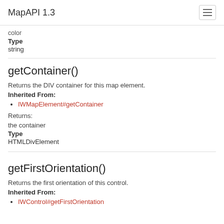MapAPI 1.3
color
Type
string
getContainer()
Returns the DIV container for this map element.
Inherited From:
IWMapElement#getContainer
Returns:
the container
Type
HTMLDivElement
getFirstOrientation()
Returns the first orientation of this control.
Inherited From:
IWControl#getFirstOrientation